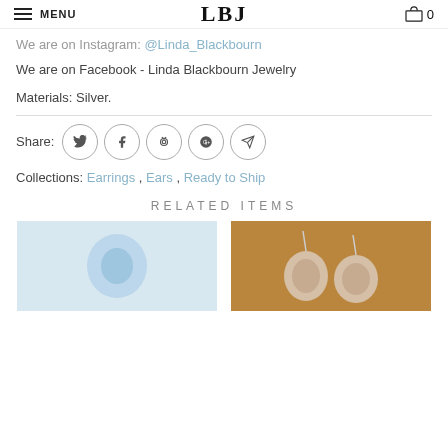MENU | LBJ | 0
We are on Instagram: @Linda_Blackbourn
We are on Facebook - Linda Blackbourn Jewelry
Materials: Silver.
Share: [Twitter] [Facebook] [Pinterest] [Google+] [Direct]
Collections: Earrings, Ears, Ready to Ship
RELATED ITEMS
[Figure (photo): Related jewelry item - blurred earring on light blue/grey background]
[Figure (photo): Related jewelry item - shell/stone earrings with silver hooks on brown wooden background]